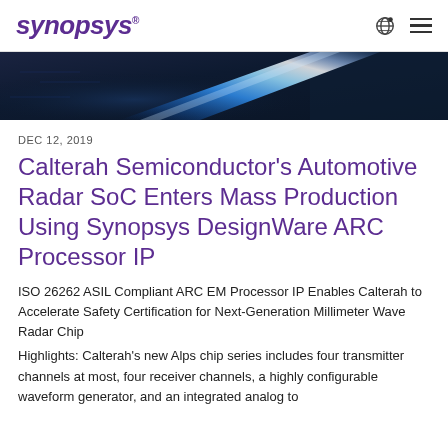SYNOPSYS
[Figure (photo): Dark technology background with a bright blue light streak, suggesting a futuristic semiconductor or radar chip context]
DEC 12, 2019
Calterah Semiconductor's Automotive Radar SoC Enters Mass Production Using Synopsys DesignWare ARC Processor IP
ISO 26262 ASIL Compliant ARC EM Processor IP Enables Calterah to Accelerate Safety Certification for Next-Generation Millimeter Wave Radar Chip
Highlights: Calterah's new Alps chip series includes four transmitter channels at most, four receiver channels, a highly configurable waveform generator, and an integrated analog to